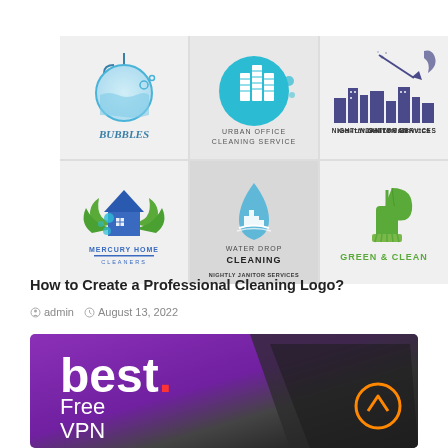[Figure (logo): Grid of 6 cleaning company logos: Bubbles, Urban Office Cleaning Service, Nightly Janitor Services, Mercury Home Cleaners, Water Drop Cleaning, Green & Clean]
How to Create a Professional Cleaning Logo?
admin   August 13, 2022
[Figure (illustration): Purple and dark banner advertisement showing 'best. Free VPN' text with a laptop in the background and an orange scroll-to-top button]